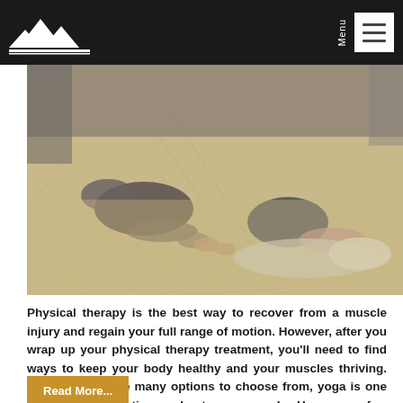Menu [navigation bar with logo and hamburger menu]
[Figure (photo): A child and adult doing a stretching/yoga pose together on a herringbone wood floor. The child is seated on a mat reaching forward while the adult guides them.]
Physical therapy is the best way to recover from a muscle injury and regain your full range of motion. However, after you wrap up your physical therapy treatment, you'll need to find ways to keep your body healthy and your muscles thriving. Though you have many options to choose from, yoga is one of the most effective workouts you can do. Here are a few benefits you may experience once you incorporate a yoga practice into your post physical therapy routine.
Read More...